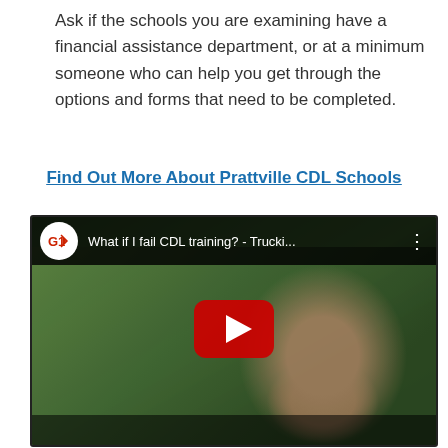Ask if the schools you are examining have a financial assistance department, or at a minimum someone who can help you get through the options and forms that need to be completed.
Find Out More About Prattville CDL Schools
[Figure (screenshot): YouTube video thumbnail showing a man wearing sunglasses and a cap outdoors among trees. Video title: 'What if I fail CDL training? - Trucki...' with a YouTube play button overlay.]